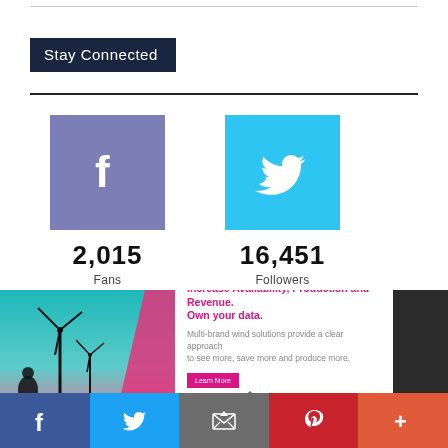Stay Connected
[Figure (infographic): Facebook icon square (purple-blue) with white 'f' logo showing 2,015 Fans]
[Figure (infographic): Twitter icon square (cyan) with white bird logo showing 16,451 Followers]
2,015
Fans
16,451
Followers
[Figure (infographic): Emerson advertisement banner: wind turbine image on left, pink headline 'Increase Availability, Production and Revenue. Own your data.', subtext, Learn More button, Emerson logo]
[Figure (infographic): Bottom social sharing bar with Facebook, Twitter, Email, Pinterest, and More (+) icons]